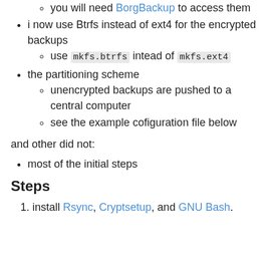you will need BorgBackup to access them
i now use Btrfs instead of ext4 for the encrypted backups
use mkfs.btrfs intead of mkfs.ext4
the partitioning scheme
unencrypted backups are pushed to a central computer
see the example cofiguration file below
and other did not:
most of the initial steps
Steps
install Rsync, Cryptsetup, and GNU Bash.